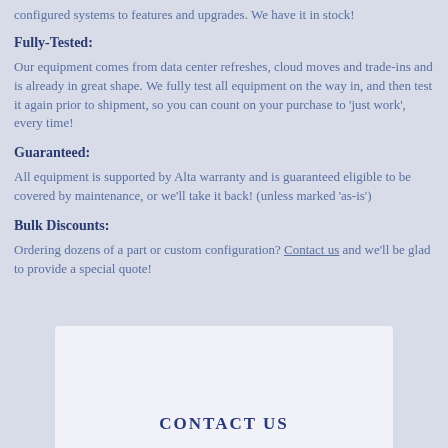configured systems to features and upgrades. We have it in stock!
Fully-Tested:
Our equipment comes from data center refreshes, cloud moves and trade-ins and is already in great shape. We fully test all equipment on the way in, and then test it again prior to shipment, so you can count on your purchase to 'just work', every time!
Guaranteed:
All equipment is supported by Alta warranty and is guaranteed eligible to be covered by maintenance, or we'll take it back! (unless marked 'as-is')
Bulk Discounts:
Ordering dozens of a part or custom configuration? Contact us and we'll be glad to provide a special quote!
CONTACT US